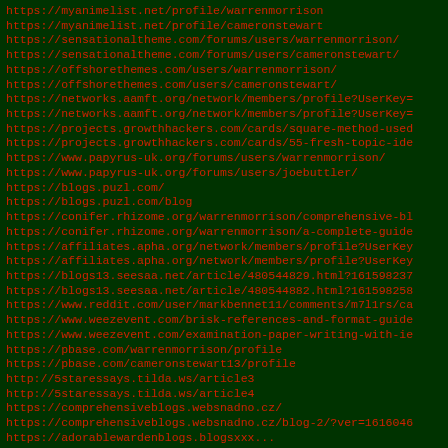https://myanimelist.net/profile/warrenmorrison
https://myanimelist.net/profile/cameronstewart
https://sensationaltheme.com/forums/users/warrenmorrison/
https://sensationaltheme.com/forums/users/cameronstewart/
https://offshorethemes.com/users/warrenmorrison/
https://offshorethemes.com/users/cameronstewart/
https://networks.aamft.org/network/members/profile?UserKey=
https://networks.aamft.org/network/members/profile?UserKey=
https://projects.growthhackers.com/cards/square-method-used
https://projects.growthhackers.com/cards/55-fresh-topic-ide
https://www.papyrus-uk.org/forums/users/warrenmorrison/
https://www.papyrus-uk.org/forums/users/joebuttler/
https://blogs.puzl.com/
https://blogs.puzl.com/blog
https://conifer.rhizome.org/warrenmorrison/comprehensive-bl
https://conifer.rhizome.org/warrenmorrison/a-complete-guide
https://affiliates.apha.org/network/members/profile?UserKey
https://affiliates.apha.org/network/members/profile?UserKey
https://blogs13.seesaa.net/article/480544829.html?161598237
https://blogs13.seesaa.net/article/480544882.html?161598258
https://www.reddit.com/user/markbennet11/comments/m7l1rs/ca
https://www.weezevent.com/brisk-references-and-format-guide
https://www.weezevent.com/examination-paper-writing-with-ie
https://pbase.com/warrenmorrison/profile
https://pbase.com/cameronstewart13/profile
http://5staressays.tilda.ws/article3
http://5staressays.tilda.ws/article4
https://comprehensiveblogs.websnadno.cz/
https://comprehensiveblogs.websnadno.cz/blog-2/?ver=1616046
https://adorablewardenblogs.blogsxxx...